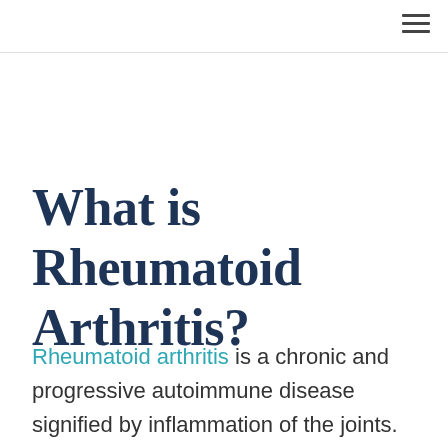What is Rheumatoid Arthritis?
Rheumatoid arthritis is a chronic and progressive autoimmune disease signified by inflammation of the joints.  Unchecked, it can result in immobility and deformity as well as significant pain, especially in the fingers, wrists, ankles and feet. Read on for